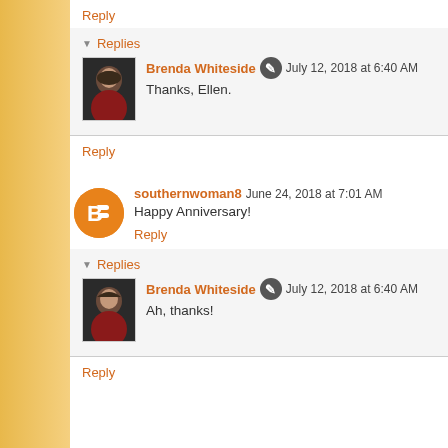Reply
Replies
Brenda Whiteside   July 12, 2018 at 6:40 AM
Thanks, Ellen.
Reply
southernwoman8   June 24, 2018 at 7:01 AM
Happy Anniversary!
Reply
Replies
Brenda Whiteside   July 12, 2018 at 6:40 AM
Ah, thanks!
Reply